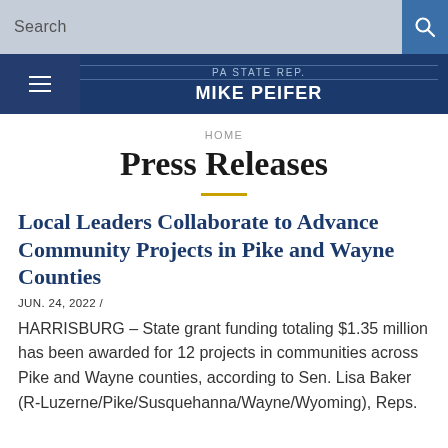Search
PA STATE REP. MIKE PEIFER
HOME
Press Releases
Local Leaders Collaborate to Advance Community Projects in Pike and Wayne Counties
JUN. 24, 2022 /
HARRISBURG – State grant funding totaling $1.35 million has been awarded for 12 projects in communities across Pike and Wayne counties, according to Sen. Lisa Baker (R-Luzerne/Pike/Susquehanna/Wayne/Wyoming), Reps.